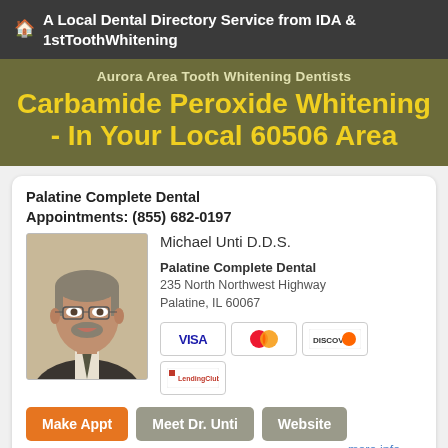🏠 A Local Dental Directory Service from IDA & 1stToothWhitening
Carbamide Peroxide Whitening - In Your Local 60506 Area
Aurora Area Tooth Whitening Dentists
Palatine Complete Dental
Appointments: (855) 682-0197
[Figure (photo): Headshot photo of Michael Unti D.D.S., a middle-aged man with glasses and a beard, wearing a suit and tie]
Michael Unti D.D.S.
Palatine Complete Dental
235 North Northwest Highway
Palatine, IL 60067
[Figure (other): Payment method badges: VISA, MasterCard, DISCOVER, LendingClub]
Make Appt   Meet Dr. Unti   Website
more info ...